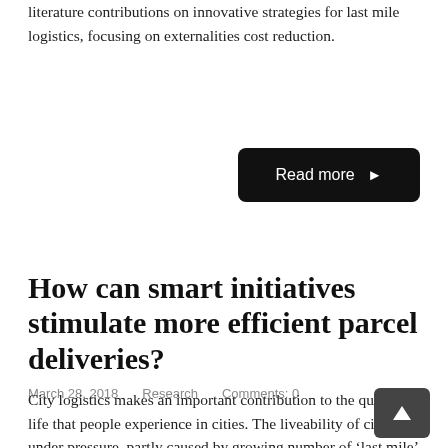literature contributions on innovative strategies for last mile logistics, focusing on externalities cost reduction.
Read more ▶
How can smart initiatives stimulate more efficient parcel deliveries?
March 28, 2018    Research    Comments: 0
City logistics makes an important contribution to the quality of life that people experience in cities. The liveability of cities is under pressure, partly caused by growing number of 'last mile' E-commerce deliveries. Various (f)actors involved in the last mile